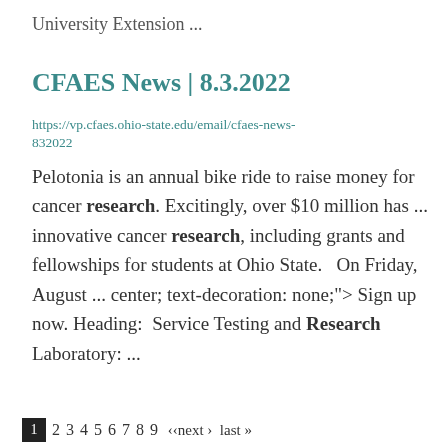University Extension ...
CFAES News | 8.3.2022
https://vp.cfaes.ohio-state.edu/email/cfaes-news-832022
Pelotonia is an annual bike ride to raise money for cancer research. Excitingly, over $10 million has ... innovative cancer research, including grants and fellowships for students at Ohio State.   On Friday, August ... center; text-decoration: none;"> Sign up now. Heading:  Service Testing and Research Laboratory: ...
1  2  3  4  5  6  7  8  9  ‹‹next ›  last »